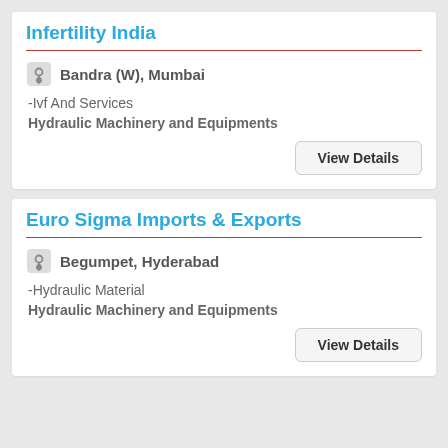Infertility India
Bandra (W), Mumbai
-Ivf And Services
Hydraulic Machinery and Equipments
View Details
Euro Sigma Imports & Exports
Begumpet, Hyderabad
-Hydraulic Material
Hydraulic Machinery and Equipments
View Details